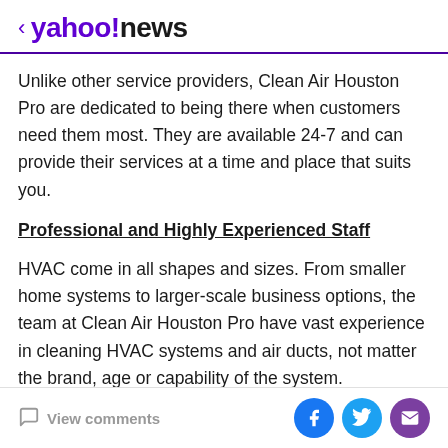< yahoo!news
Unlike other service providers, Clean Air Houston Pro are dedicated to being there when customers need them most. They are available 24-7 and can provide their services at a time and place that suits you.
Professional and Highly Experienced Staff
HVAC come in all shapes and sizes. From smaller home systems to larger-scale business options, the team at Clean Air Houston Pro have vast experience in cleaning HVAC systems and air ducts, not matter the brand, age or capability of the system.
Exemplary Customer Care
View comments